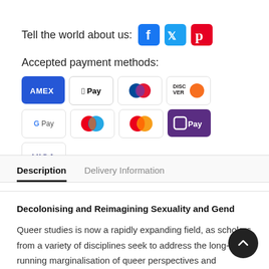Tell the world about us:
[Figure (infographic): Social media share icons: Facebook (blue), Twitter (light blue), Pinterest (red)]
Accepted payment methods:
[Figure (infographic): Payment method icons: AMEX, Apple Pay, Diners Club, Discover, Google Pay, Mastercard (x2), OPay, VISA]
Description
Delivery Information
Decolonising and Reimagining Sexuality and Gender
Queer studies is now a rapidly expanding field, as scholars from a variety of disciplines seek to address the long-running marginalisation of queer perspectives and